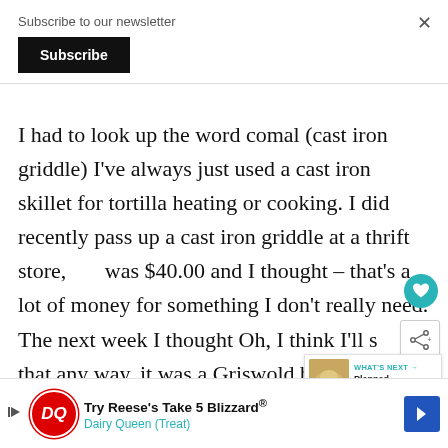Subscribe to our newsletter
Subscribe
×
I had to look up the word comal (cast iron griddle) I've always just used a cast iron skillet for tortilla heating or cooking. I did recently pass up a cast iron griddle at a thrift store, was $40.00 and I thought – that's a lot of money for something I don't really need. The next week I thought Oh, I think I'll s... that any way, it was a Griswold brand which is
[Figure (infographic): What's Next widget with thumbnail image, label 'WHAT'S NEXT →', and title 'Planned Leftovers:...']
[Figure (infographic): Dairy Queen advertisement banner: 'Try Reese's Take 5 Blizzard® Dairy Queen (Treat)' with DQ logo and blue arrow icon]